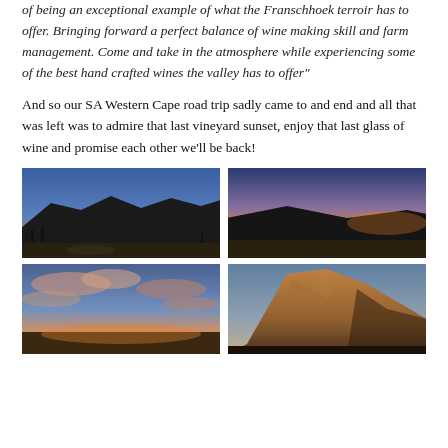of being an exceptional example of what the Franschhoek terroir has to offer. Bringing forward a perfect balance of wine making skill and farm management. Come and take in the atmosphere while experiencing some of the best hand crafted wines the valley has to offer"
And so our SA Western Cape road trip sadly came to and end and all that was left was to admire that last vineyard sunset, enjoy that last glass of wine and promise each other we'll be back!
[Figure (photo): Vineyard sunset landscape with mountains silhouetted against a blue-to-orange dusk sky, with a winding road in the foreground]
[Figure (photo): Sunset landscape with mountains silhouetted against a vivid orange and blue sky, vineyard fields in the foreground]
[Figure (photo): Dramatic clouds at sunset with warm pink and orange tones against a blue sky]
[Figure (photo): Mountain landscape with warm golden light illuminating rocky mountainside at dusk]